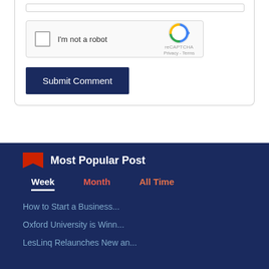[Figure (screenshot): reCAPTCHA widget with checkbox labeled 'I'm not a robot' and reCAPTCHA logo with Privacy and Terms links]
[Figure (screenshot): Submit Comment button — dark navy blue rectangular button with white text]
Most Popular Post
Week | Month | All Time (tab navigation)
How to Start a Business...
Oxford University is Winn...
LesLinq Relaunches New an...